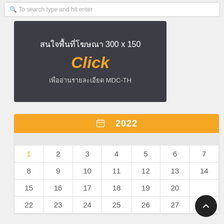To search type and hit enter
[Figure (infographic): Dark grey advertisement banner with Thai text 'สนใจพื้นที่โฆษณา 300 x 150', orange italic 'Click', and Thai text 'เพื่ออ่านรายละเอียด MDC-TH']
| 2022 Calendar |
| --- |
| 1 | 2 | 3 | 4 | 5 | 6 | 7 |
| 8 | 9 | 10 | 11 | 12 | 13 | 14 |
| 15 | 16 | 17 | 18 | 19 | 20 |  |
| 22 | 23 | 24 | 25 | 26 | 27 | 28 |